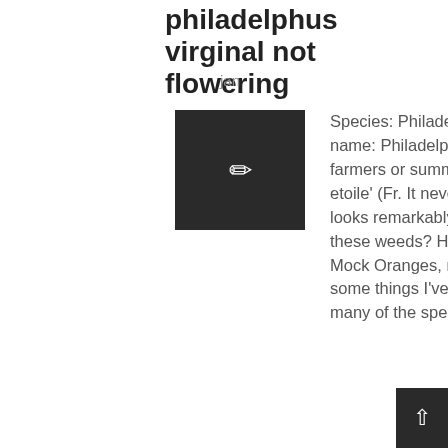philadelphus virginal not flowering
jan
[Figure (illustration): Dark square avatar icon with a white pencil/edit icon in the center]
Species: Philadelphus 3. botanical name: Philadelphus 4. german name: Philadelphus, sweet mock orange, scented jasmine, farmers or summers jasmine 5. Finally, there is P.lemoinei 'belle etoile' (Fr. It never bloomed. Does anyone know if the new growth looks remarkably different (yet similar) from the mature or are these weeds? Hello folks, I'm something of a connnoisseur of the Mock Oranges, n don't get on the site that often....anyhow, here's some things I've learned over the years from experience.....1st off, many of the species